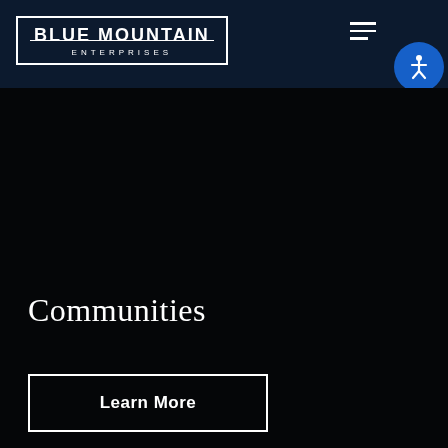[Figure (logo): Blue Mountain Enterprises logo — white text in bordered rectangle on dark navy background]
Communities
Learn More